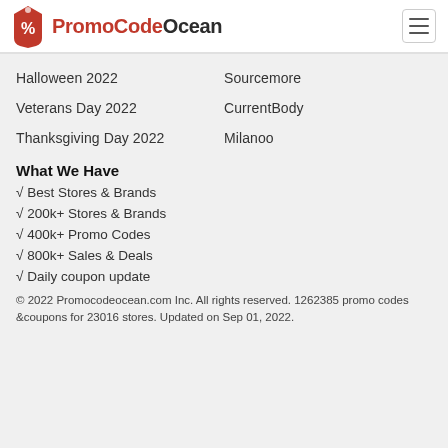PromoCodeOcean
Halloween 2022
Sourcemore
Veterans Day 2022
CurrentBody
Thanksgiving Day 2022
Milanoo
What We Have
√ Best Stores & Brands
√ 200k+ Stores & Brands
√ 400k+ Promo Codes
√ 800k+ Sales & Deals
√ Daily coupon update
© 2022 Promocodeocean.com Inc. All rights reserved. 1262385 promo codes &coupons for 23016 stores. Updated on Sep 01, 2022.